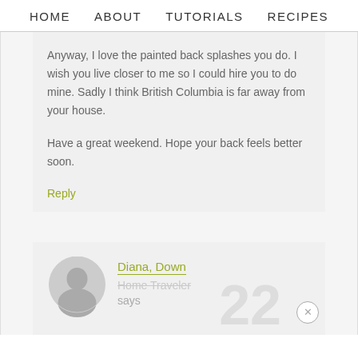HOME  ABOUT  TUTORIALS  RECIPES
Anyway, I love the painted back splashes you do. I wish you live closer to me so I could hire you to do mine. Sadly I think British Columbia is far away from your house.

Have a great weekend. Hope your back feels better soon.
Reply
Diana, Down Home Traveler says